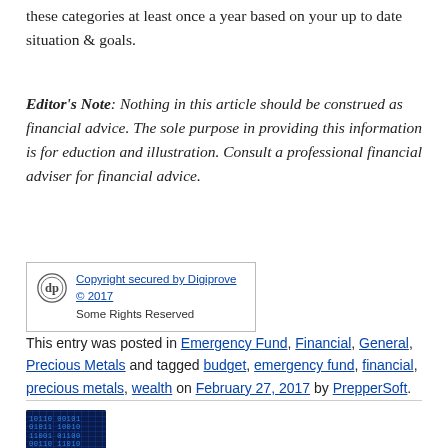these categories at least once a year based on your up to date situation & goals.
Editor's Note: Nothing in this article should be construed as financial advice. The sole purpose in providing this information is for eduction and illustration. Consult a professional financial adviser for financial advice.
[Figure (other): Digiprove copyright badge showing logo and text: Copyright secured by Digiprove © 2017, Some Rights Reserved]
This entry was posted in Emergency Fund, Financial, General, Precious Metals and tagged budget, emergency fund, financial, precious metals, wealth on February 27, 2017 by PrepperSoft.
[Figure (photo): Thumbnail image of binary code displayed in blue on a dark background with a coin or metallic object at the bottom]